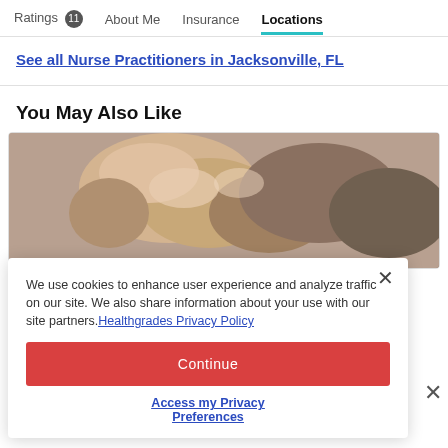Ratings 11   About Me   Insurance   Locations
See all Nurse Practitioners in Jacksonville, FL
You May Also Like
[Figure (photo): Close-up photo of hands, warm tones with blurred background]
We use cookies to enhance user experience and analyze traffic on our site. We also share information about your use with our site partners. Healthgrades Privacy Policy
Continue
Access my Privacy Preferences